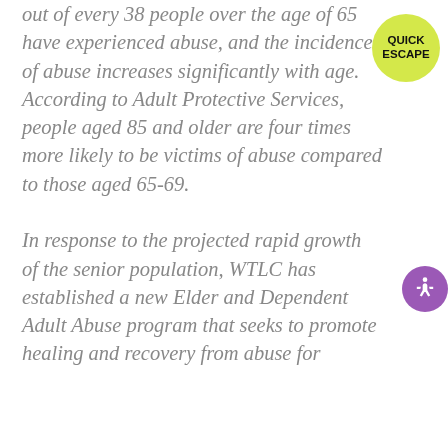out of every 38 people over the age of 65 have experienced abuse, and the incidence of abuse increases significantly with age. According to Adult Protective Services, people aged 85 and older are four times more likely to be victims of abuse compared to those aged 65-69.

In response to the projected rapid growth of the senior population, WTLC has established a new Elder and Dependent Adult Abuse program that seeks to promote healing and recovery from abuse for
[Figure (other): Yellow circular badge with text QUICK ESCAPE]
[Figure (other): Purple circular accessibility button with wheelchair person icon]